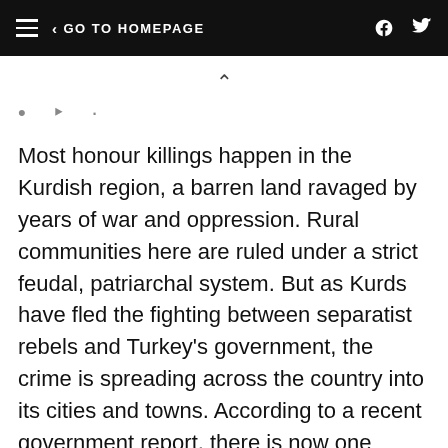≡  < GO TO HOMEPAGE
Most honour killings happen in the Kurdish region, a barren land ravaged by years of war and oppression. Rural communities here are ruled under a strict feudal, patriarchal system. But as Kurds have fled the fighting between separatist rebels and Turkey's government, the crime is spreading across the country into its cities and towns. According to a recent government report, there is now one honour killing a week in Istanbul.